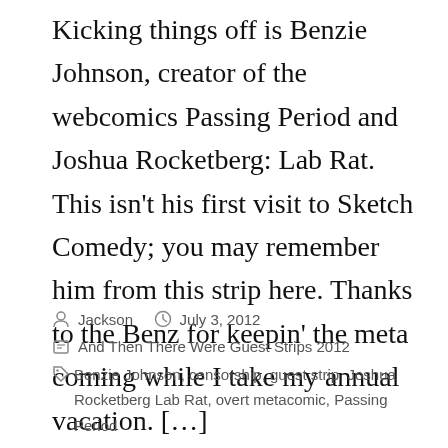Kicking things off is Benzie Johnson, creator of the webcomics Passing Period and Joshua Rocketberg: Lab Rat. This isn't his first visit to Sketch Comedy; you may remember him from this strip here. Thanks to the Benz for keepin' the meta coming while I take my annual vacation. […]
by Jackson   July 3, 2012   And Then There Were Guest Strips 2012   Benzie Johnson, censorship, guest strip, Joshua Rocketberg Lab Rat, overt metacomic, Passing Period